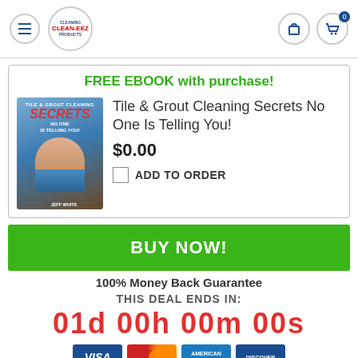Clean-Eez cleaning products logo with hamburger menu and cart icon
FREE EBOOK with purchase!
[Figure (photo): Book cover: Tile & Grout Cleaning Secrets No One Is Telling You! by Jeff White]
Tile & Grout Cleaning Secrets No One Is Telling You!
$0.00
ADD TO ORDER
BUY NOW!
100% Money Back Guarantee
THIS DEAL ENDS IN:
01d 00h 00m 00s
[Figure (other): Payment method icons: Visa, Mastercard, American Express, Discover]